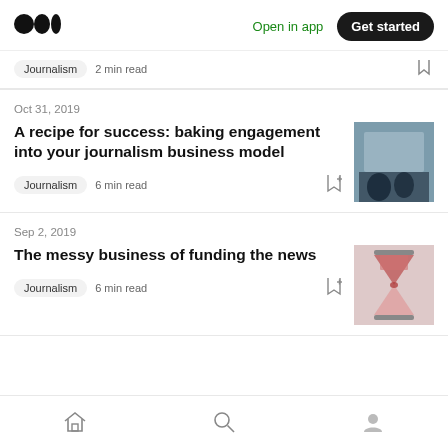Medium — Open in app — Get started
Journalism · 2 min read
Oct 31, 2019
A recipe for success: baking engagement into your journalism business model
Journalism · 6 min read
[Figure (photo): People sitting at a table in a meeting room]
Sep 2, 2019
The messy business of funding the news
Journalism · 6 min read
[Figure (photo): Red hourglass with sand flowing]
Home · Search · Profile navigation icons